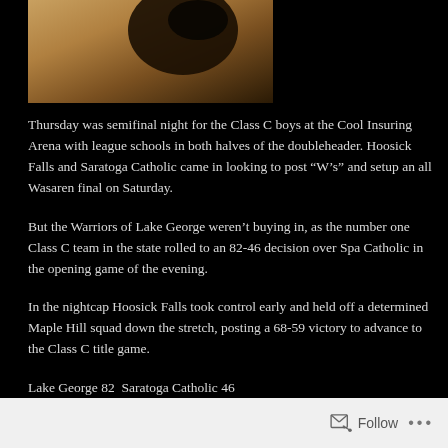[Figure (photo): Close-up photo of a basketball or sports equipment on a dark background]
Thursday was semifinal night for the Class C boys at the Cool Insuring Arena with league schools in both halves of the doubleheader. Hoosick Falls and Saratoga Catholic came in looking to post “W’s” and setup an all Wasaren final on Saturday.
But the Warriors of Lake George weren’t buying in, as the number one Class C team in the state rolled to an 82-46 decision over Spa Catholic in the opening game of the evening.
In the nightcap Hoosick Falls took control early and held off a determined Maple Hill squad down the stretch, posting a 68-59 victory to advance to the Class C title game.
Lake George 82  Saratoga Catholic 46
Leading Scorers:  Warriors – Mason Flatley 19     Caleb Scrime 17    Alex Jones 16     Chris Baker 15          Saints – Aiden Dagostino 10
Follow   •••